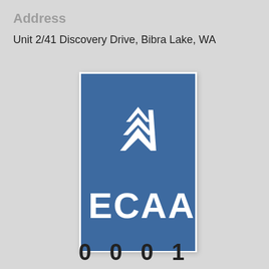Address
Unit 2/41 Discovery Drive, Bibra Lake, WA
[Figure (logo): ECAAS logo: blue rectangle with white triple-chevron/check mark symbol above the text 'ECAAS' in white bold letters]
0 0 0 1